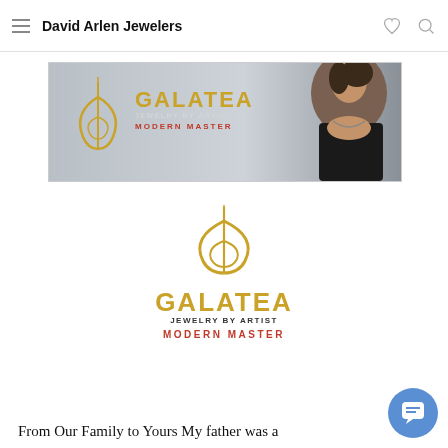David Arlen Jewelers
[Figure (illustration): Galatea Jewelry by Artist Modern Master banner advertisement with a woman wearing jewelry and the Galatea logo with gold crown/harp symbol]
[Figure (logo): Galatea Jewelry by Artist Modern Master logo centered on white background with gold decorative symbol]
From Our Family to Yours My father was a